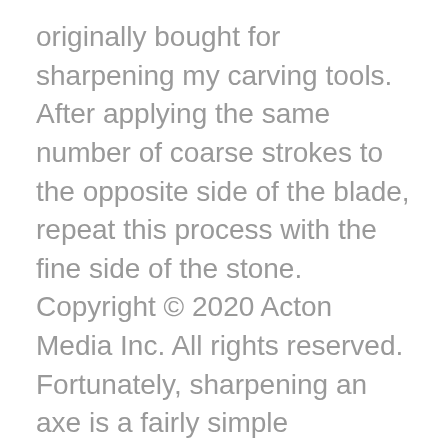originally bought for sharpening my carving tools. After applying the same number of coarse strokes to the opposite side of the blade, repeat this process with the fine side of the stone. Copyright © 2020 Acton Media Inc. All rights reserved. Fortunately, sharpening an axe is a fairly simple procedure, requiring only a few easily gathered tools and some straightforward steps. It kinda depends on what you're doing with it. If there are only small nicks, you can skip this step and proceed directly to filing. Alternatively, you can dip the axe head in a bucket of cold water between passes. This is a quick way to get a nice functional razor sharp edge on your new axe! Secure the Axe for Sharpening . Disclosure: BobVila.com participates in the Amazon Services LLC Associates Program, an affiliate advertising program designed to provide a means for publishers to earn fees by linking to Amazon.com and